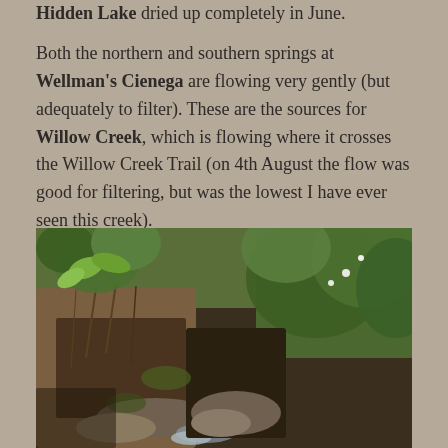Hidden Lake dried up completely in June. Both the northern and southern springs at Wellman's Cienega are flowing very gently (but adequately to filter). These are the sources for Willow Creek, which is flowing where it crosses the Willow Creek Trail (on 4th August the flow was good for filtering, but was the lowest I have ever seen this creek).
[Figure (photo): Photograph of a small spring or seep at ground level, showing muddy dark soil with exposed roots and rock, green vegetation including broad-leaved plants and shrubs in the background, appearing to be a natural water source.]